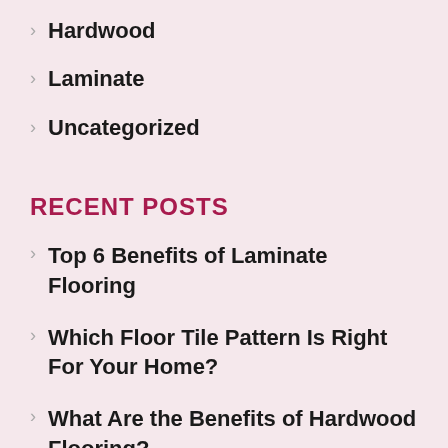Hardwood
Laminate
Uncategorized
RECENT POSTS
Top 6 Benefits of Laminate Flooring
Which Floor Tile Pattern Is Right For Your Home?
What Are the Benefits of Hardwood Flooring?
Top 5 Factors to Consider When Flooring Your Home?